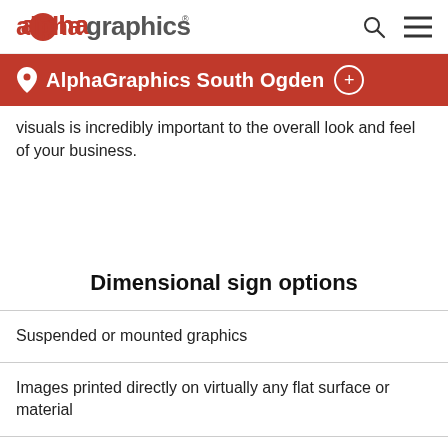alphagraphics
AlphaGraphics South Ogden
visuals is incredibly important to the overall look and feel of your business.
Dimensional sign options
Suspended or mounted graphics
Images printed directly on virtually any flat surface or material